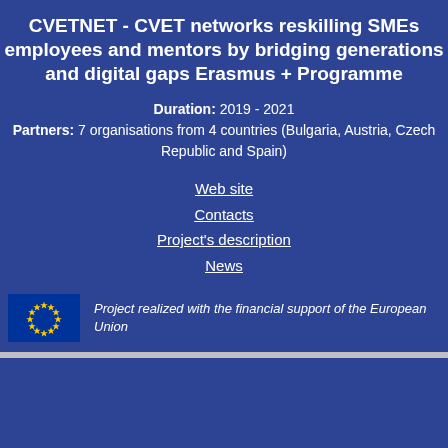CVETNET - CVET networks reskilling SMEs employees and mentors by bridging generations and digital gaps Erasmus + Programme
Duration: 2019 - 2021 Partners: 7 organisations from 4 countries (Bulgaria, Austria, Czech Republic and Spain)
Web site
Contacts
Project's description
News
Project realized with the financial support of the European Union